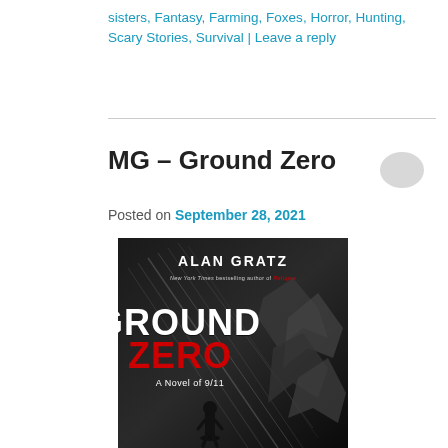sisters, Fantasy, Farming, Foxes, Horror, Hunting, Scary Stories, Survival | Leave a reply
MG – Ground Zero
Posted on September 28, 2021
[Figure (photo): Book cover of 'Ground Zero' by Alan Gratz – New York Times bestselling author of Refugee. Shows the title 'GROUND ZERO' in large text with 'ZERO' in red, subtitle 'A Novel of 9/11', black and white image of a child silhouette against a destroyed background with light rays.]